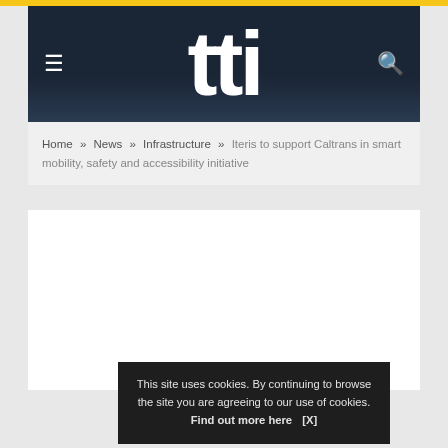[Figure (logo): TTI website header with dark navy background, white 'tti' large logo text, hamburger menu icon on left, search icon on right, yellow top bar]
Home » News » Infrastructure » Iteris to support Caltrans in smart mobility, safety and accessibility initiative
This site uses cookies. By continuing to browse the site you are agreeing to our use of cookies. Find out more here  [X]